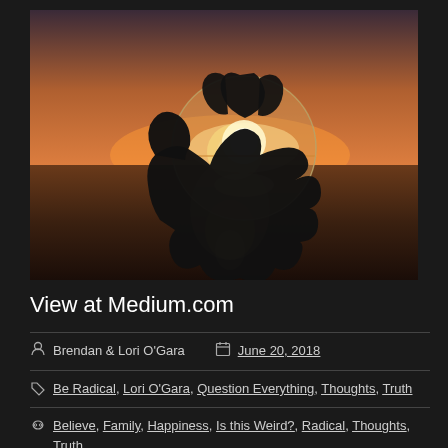[Figure (photo): A hand holding a glass crystal ball against a sunset over water. The glass ball refracts the sunset scene inside it. The sky has warm orange and pink tones. The background shows a calm lake or sea with light reflecting on the water surface.]
View at Medium.com
Brendan & Lori O'Gara   June 20, 2018
Be Radical, Lori O'Gara, Question Everything, Thoughts, Truth
Believe, Family, Happiness, Is this Weird?, Radical, Thoughts, Truth